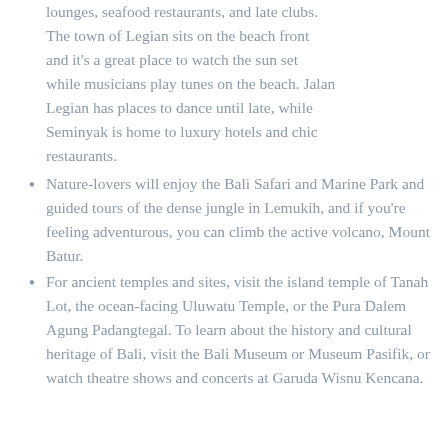lounges, seafood restaurants, and late clubs. The town of Legian sits on the beach front and it's a great place to watch the sun set while musicians play tunes on the beach. Jalan Legian has places to dance until late, while Seminyak is home to luxury hotels and chic restaurants.
Nature-lovers will enjoy the Bali Safari and Marine Park and guided tours of the dense jungle in Lemukih, and if you're feeling adventurous, you can climb the active volcano, Mount Batur.
For ancient temples and sites, visit the island temple of Tanah Lot, the ocean-facing Uluwatu Temple, or the Pura Dalem Agung Padangtegal. To learn about the history and cultural heritage of Bali, visit the Bali Museum or Museum Pasifik, or watch theatre shows and concerts at Garuda Wisnu Kencana.